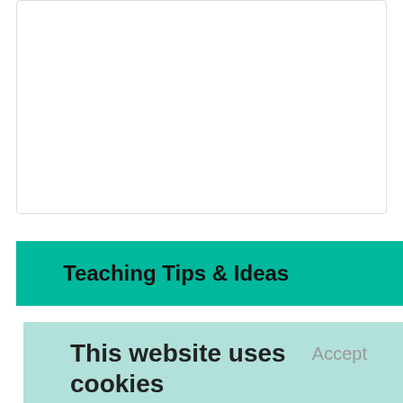Teaching Tips & Ideas
Teaching Tips & Ideas
This website uses cookies
We use cookies to personalize content and ads, to provide social media features and to analyze our traffic. We also share information about your use of our site with our social media, advertising and analytics partners who may combine it with other information that you've provided to them or that they've collected from your use of their services.
Learn More.